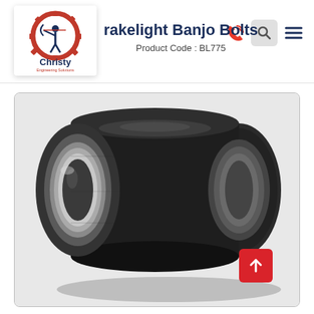Christy Engineering Solutions
Brakelight Banjo Bolts
Product Code : BL775
[Figure (photo): A cylindrical hollow metal spacer/banjo bolt sleeve with black oxidized outer surface and silver metallic inner bore, photographed at an angle showing both the circular hollow opening and the cylindrical body.]